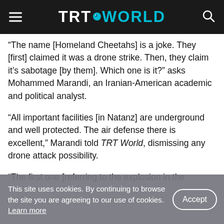TRT WORLD
“The name [Homeland Cheetahs] is a joke. They [first] claimed it was a drone strike. Then, they claim it’s sabotage [by them]. Which one is it?” asks Mohammed Marandi, an Iranian-American academic and political analyst.
“All important facilities [in Natanz] are underground and well protected. The air defense there is excellent,” Marandi told TRT World, dismissing any drone attack possibility.
“The first one [referring to the explosion in the
This site uses cookies. By continuing to browse the site you are agreeing to our use of cookies. Learn more